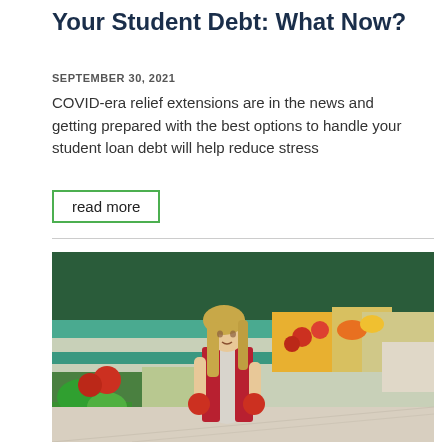Your Student Debt: What Now?
SEPTEMBER 30, 2021
COVID-era relief extensions are in the news and getting prepared with the best options to handle your student loan debt will help reduce stress
read more
[Figure (photo): Young girl in a red cardigan standing in a grocery store produce aisle, holding two tomatoes in her hands, with colorful fruits and vegetables visible in the background on green display shelves.]